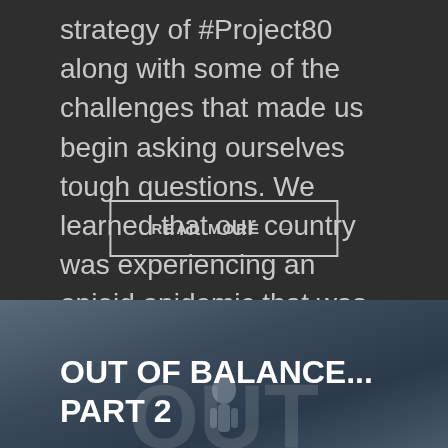strategy of #Project80 along with some of the challenges that made us begin asking ourselves tough questions. We learned that our country was experiencing an opioid epidemic that was killing hundreds of thousands of people and we also learned that we were only able to help [...]
READ MORE →
[Figure (photo): Dark blue-grey background image with a faint silhouette figure in the lower center, serving as backdrop for the 'Out of Balance... Part 2' blog post section.]
OUT OF BALANCE... PART 2